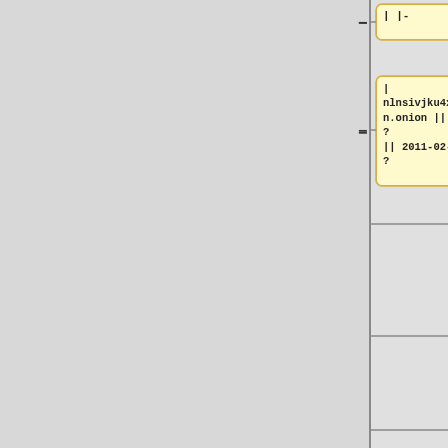[Figure (other): Diff view showing removed (yellow) and added (blue) content blocks in a wiki/code comparison interface. Left column shows removed lines with minus signs, right column shows added lines with plus signs, connected by horizontal lines on a gray background.]
| |-
| nlnsivjku4x4lu5n.onion || ? || ? || 2011-02-11 || ?
=== Tor nodes ===
This entire list was last checked on 2022-07-25.
{|class="wikitable sortable"
! Hostname !! Owner !! Status !! Last Seen (GMT) !! Accepts IP